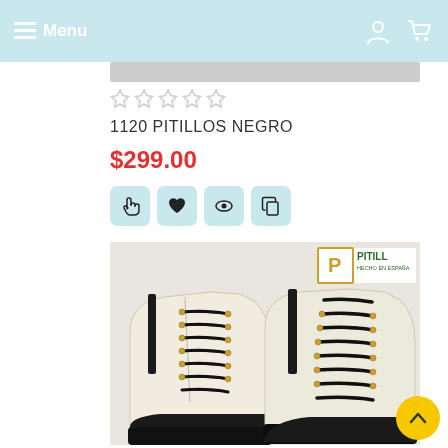Menu
[Figure (photo): Rating stars row - 5 empty/gray stars]
1120 PITILLOS NEGRO
$299.00
[Figure (photo): White/cream lace-up ankle boots with black laces and black chunky sole, Pitillos brand, made in Spain. Product photo with brand logo overlay.]